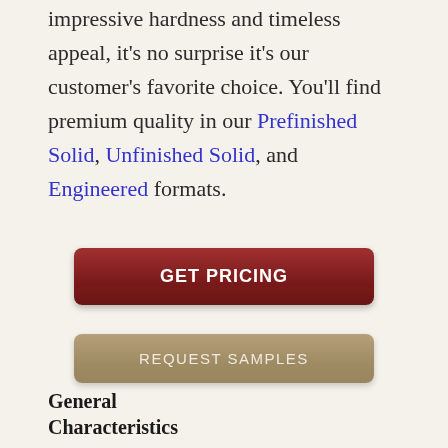impressive hardness and timeless appeal, it's no surprise it's our customer's favorite choice. You'll find premium quality in our Prefinished Solid, Unfinished Solid, and Engineered formats.
[Figure (other): GET PRICING button — dark red/brown rounded rectangle button with white bold uppercase text]
[Figure (other): REQUEST SAMPLES button — tan/khaki rounded rectangle button with light uppercase text]
General Characteristics